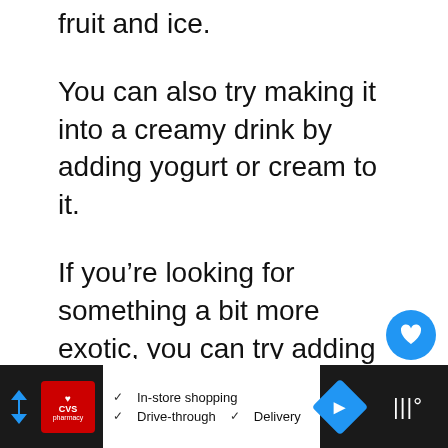fruit and ice.
You can also try making it into a creamy drink by adding yogurt or cream to it.
If you're looking for something a bit more exotic, you can try adding mint, lime or cucumber to it.
[Figure (screenshot): Blue circular heart/favorite button and white circular share button floating on the right side]
[Figure (screenshot): CVS Pharmacy advertisement banner with in-store shopping, drive-through, and delivery options]